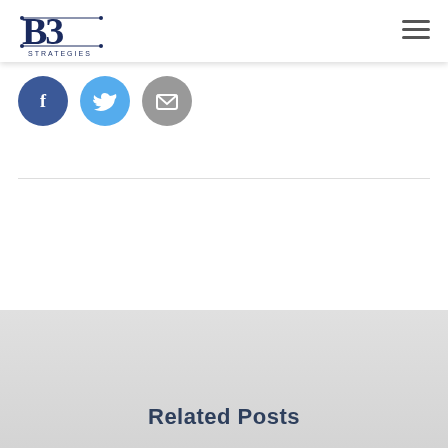[Figure (logo): B3 Strategies logo with stylized B3 text and 'STRATEGIES' below]
[Figure (infographic): Three social sharing buttons: Facebook (blue circle with f), Twitter (light blue circle with bird icon), Email (grey circle with envelope icon)]
Related Posts